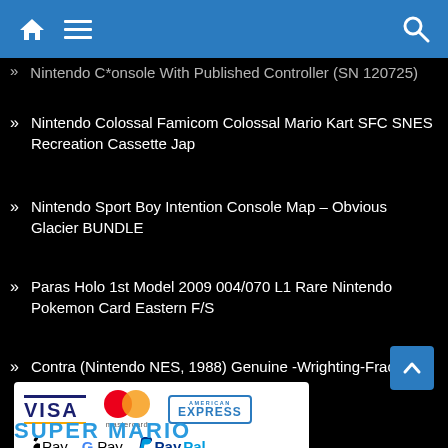Navigation header with home, menu, and search icons
Nintendo Colossal Famicom Colossal Mario Kart SFC SNES Recreation Cassette Jap
Nintendo Sport Boy Intention Console Map – Obvious Glacier BUNDLE
Paras Holo 1st Model 2009 004/070 L1 Rare Nintendo Pokemon Card Eastern F/S
Contra (Nintendo NES, 1988) Genuine -Wrighting-Fracture-
[Figure (logo): Payment methods logos: VISA, Mastercard, American Express, Apple Pay, Google Pay, PayPal]
SUPER MARIO